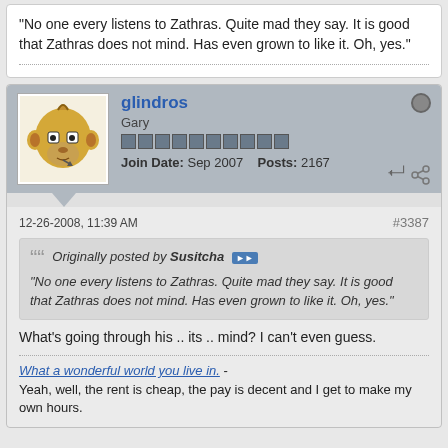"No one every listens to Zathras. Quite mad they say. It is good that Zathras does not mind. Has even grown to like it. Oh, yes."
glindros
Gary
Join Date: Sep 2007   Posts: 2167
12-26-2008, 11:39 AM
#3387
Originally posted by Susitcha
"No one every listens to Zathras. Quite mad they say. It is good that Zathras does not mind. Has even grown to like it. Oh, yes."
What's going through his .. its .. mind? I can't even guess.
What a wonderful world you live in. - Yeah, well, the rent is cheap, the pay is decent and I get to make my own hours.